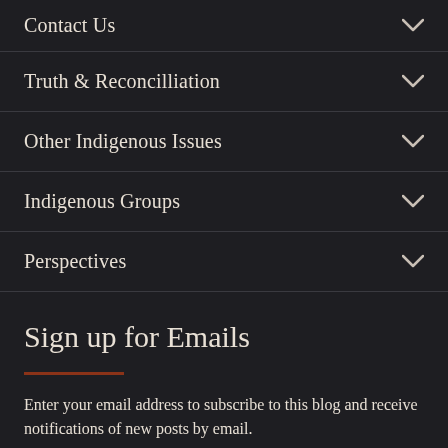Contact Us
Truth & Reconcilliation
Other Indigenous Issues
Indigenous Groups
Perspectives
Sign up for Emails
Enter your email address to subscribe to this blog and receive notifications of new posts by email.